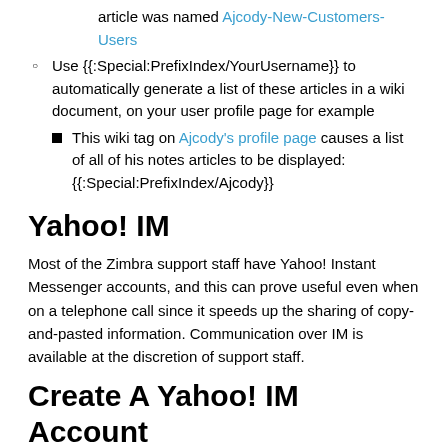article was named Ajcody-New-Customers-Users
Use {{:Special:PrefixIndex/YourUsername}} to automatically generate a list of these articles in a wiki document, on your user profile page for example
This wiki tag on Ajcody's profile page causes a list of all of his notes articles to be displayed: {{:Special:PrefixIndex/Ajcody}}
Yahoo! IM
Most of the Zimbra support staff have Yahoo! Instant Messenger accounts, and this can prove useful even when on a telephone call since it speeds up the sharing of copy-and-pasted information. Communication over IM is available at the discretion of support staff.
Create A Yahoo! IM Account